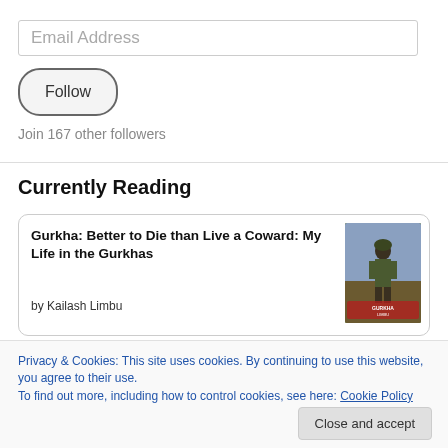Email Address
Follow
Join 167 other followers
Currently Reading
[Figure (illustration): Book card showing 'Gurkha: Better to Die than Live a Coward: My Life in the Gurkhas' by Kailash Limbu with a book cover image of a soldier]
Gurkha: Better to Die than Live a Coward: My Life in the Gurkhas
by Kailash Limbu
Privacy & Cookies: This site uses cookies. By continuing to use this website, you agree to their use.
To find out more, including how to control cookies, see here: Cookie Policy
Close and accept